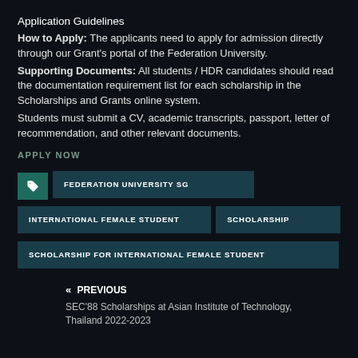Application Guidelines
How to Apply: The applicants need to apply for admission directly through our Grant’s portal of the Federation University.
Supporting Documents: All students / HDR candidates should read the documentation requirement list for each scholarship in the Scholarships and Grants online system.
Students must submit a CV, academic transcripts, passport, letter of recommendation, and other relevant documents.
APPLY NOW
FEDERATION UNIVERSITY SG
INTERNATIONAL FEMALE STUDENT
SCHOLARSHIP
SCHOLARSHIP FOR INTERNATIONAL FEMALE STUDENT
« PREVIOUS
SEC’88 Scholarships at Asian Institute of Technology, Thailand 2022-2023